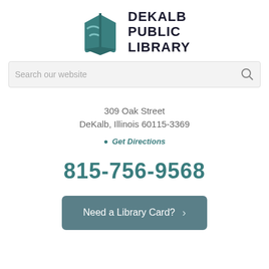[Figure (logo): DeKalb Public Library logo: teal open book icon with text DEKALB PUBLIC LIBRARY in bold dark letters]
[Figure (screenshot): Search bar with placeholder text 'Search our website' and a search icon on the right]
309 Oak Street
DeKalb, Illinois 60115-3369
📍 Get Directions
815-756-9568
Need a Library Card? >